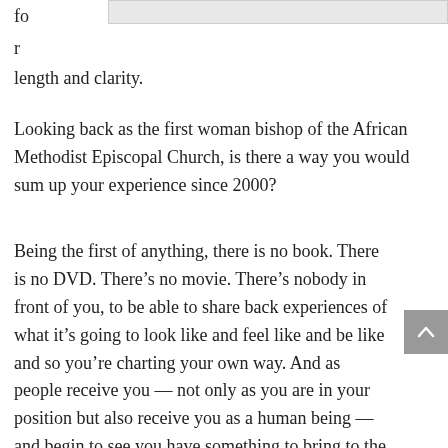fo
r
length and clarity.
Looking back as the first woman bishop of the African Methodist Episcopal Church, is there a way you would sum up your experience since 2000?
Being the first of anything, there is no book. There is no DVD. There's no movie. There's nobody in front of you, to be able to share back experiences of what it's going to look like and feel like and be like and so you're charting your own way. And as people receive you — not only as you are in your position but also receive you as a human being — and begin to see you have something to bring to the table and be able to embrace the uniqueness of my femininity. I do what bishops have to do, but I don't do them in the same